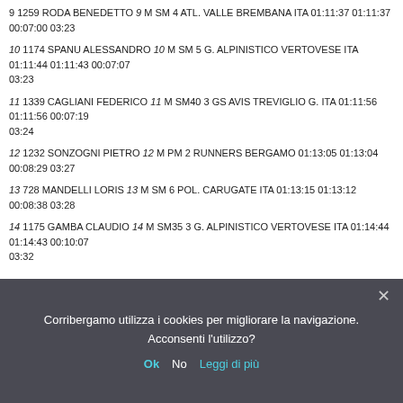9 1259 RODA BENEDETTO 9 M SM 4 ATL. VALLE BREMBANA ITA 01:11:37 01:11:37 00:07:00 03:23
10 1174 SPANU ALESSANDRO 10 M SM 5 G. ALPINISTICO VERTOVESE ITA 01:11:44 01:11:43 00:07:07 03:23
11 1339 CAGLIANI FEDERICO 11 M SM40 3 GS AVIS TREVIGLIO G. ITA 01:11:56 01:11:56 00:07:19 03:24
12 1232 SONZOGNI PIETRO 12 M PM 2 RUNNERS BERGAMO 01:13:05 01:13:04 00:08:29 03:27
13 728 MANDELLI LORIS 13 M SM 6 POL. CARUGATE ITA 01:13:15 01:13:12 00:08:38 03:28
14 1175 GAMBA CLAUDIO 14 M SM35 3 G. ALPINISTICO VERTOVESE ITA 01:14:44 01:14:43 00:10:07 03:32
Corribergamo utilizza i cookies per migliorare la navigazione. Acconsenti l'utilizzo? Ok No Leggi di più